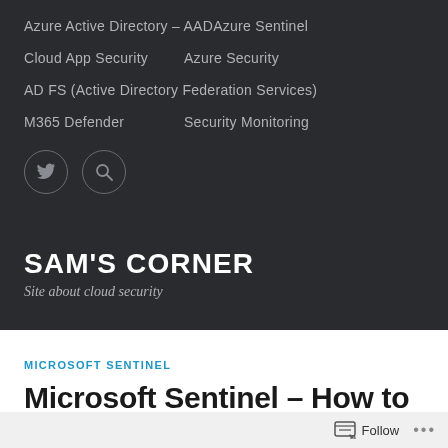Azure Active Directory – AAD
Azure Sentinel
Cloud App Security
Azure Security
AD FS (Active Directory Federation Services)
M365 Defender
Security Monitoring
[Figure (other): Twitter bird icon circle and Search magnifier icon circle]
SAM'S CORNER
Site about cloud security
MICROSOFT SENTINEL
Microsoft Sentinel – How to